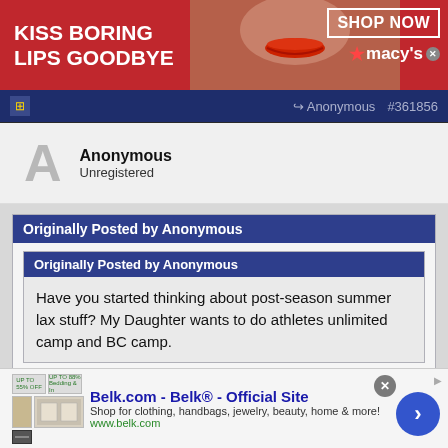[Figure (screenshot): Macy's advertisement banner: red background with woman's face, text 'KISS BORING LIPS GOODBYE', 'SHOP NOW' button, Macy's logo with star]
Anonymous  #361856
Anonymous
Unregistered
Originally Posted by Anonymous
Originally Posted by Anonymous
Have you started thinking about post-season summer lax stuff? My Daughter wants to do athletes unlimited camp and BC camp.
Originally Posted by Anonymous
[Figure (screenshot): Belk.com advertisement: Belk Official Site, shop for clothing, handbags, jewelry, beauty, home and more, www.belk.com, with product images and navigation button]